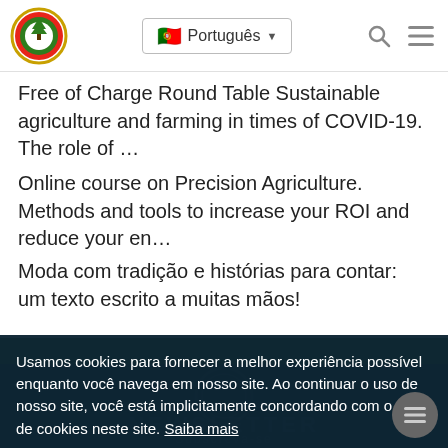No Friend No The Farm | Português
Free of Charge Round Table Sustainable agriculture and farming in times of COVID-19. The role of …
Online course on Precision Agriculture. Methods and tools to increase your ROI and reduce your en…
Moda com tradição e histórias para contar: um texto escrito a muitas mãos!
Usamos cookies para fornecer a melhor experiência possível enquanto você navega em nosso site. Ao continuar o uso de nosso site, você está implicitamente concordando com o uso de cookies neste site. Saiba mais
Entendi! Não rastrear